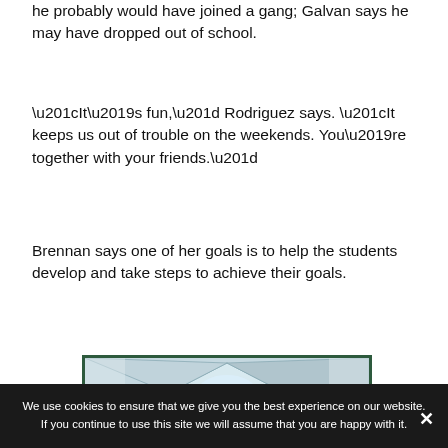he probably would have joined a gang; Galvan says he may have dropped out of school.
“It’s fun,” Rodriguez says. “It keeps us out of trouble on the weekends. You’re together with your friends.”
Brennan says one of her goals is to help the students develop and take steps to achieve their goals.
[Figure (photo): Interior photo showing a skylight or ceiling structure with geometric panels, viewed from below, with light coming through.]
We use cookies to ensure that we give you the best experience on our website. If you continue to use this site we will assume that you are happy with it.